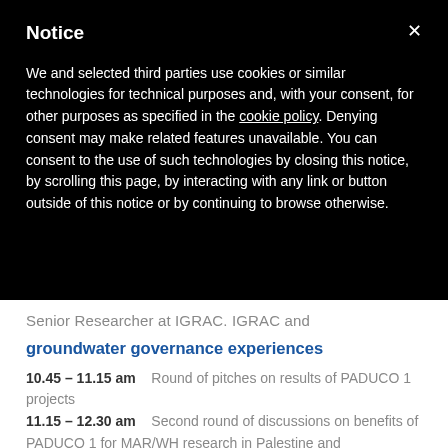Notice
We and selected third parties use cookies or similar technologies for technical purposes and, with your consent, for other purposes as specified in the cookie policy. Denying consent may make related features unavailable. You can consent to the use of such technologies by closing this notice, by scrolling this page, by interacting with any link or button outside of this notice or by continuing to browse otherwise.
Senior Researcher at IGRAC. IGRAC and
groundwater governance experiences
10.45 – 11.15 am    Round of pitches on results of PADUCO 1 projects
11.15 – 12.30 am    Second round of discussions on benefits of PADUCO 1 for MAR/WH research in Palestine and